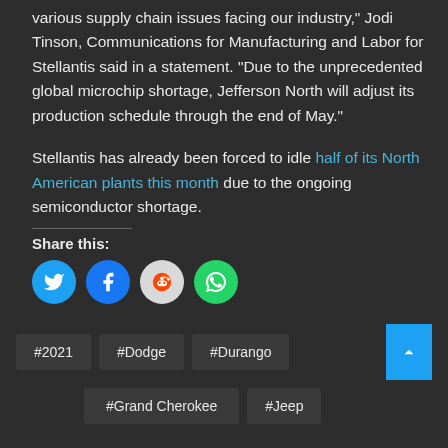various supply chain issues facing our industry," Jodi Tinson, Communications for Manufacturing and Labor for Stellantis said in a statement. "Due to the unprecedented global microchip shortage, Jefferson North will adjust its production schedule through the end of May."
Stellantis has already been forced to idle half of its North American plants this month due to the ongoing semiconductor shortage.
Share this:
[Figure (infographic): Social share buttons: Twitter (blue circle), Facebook (blue circle), Reddit (light gray circle), WhatsApp (green circle)]
#2021
#Dodge
#Durango
#Grand Cherokee
#Jeep